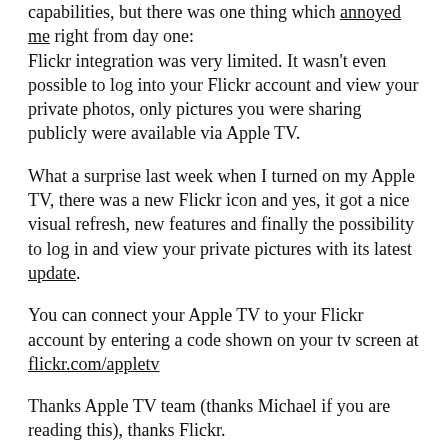capabilities, but there was one thing which annoyed me right from day one:
Flickr integration was very limited. It wasn't even possible to log into your Flickr account and view your private photos, only pictures you were sharing publicly were available via Apple TV.
What a surprise last week when I turned on my Apple TV, there was a new Flickr icon and yes, it got a nice visual refresh, new features and finally the possibility to log in and view your private pictures with its latest update.
You can connect your Apple TV to your Flickr account by entering a code shown on your tv screen at flickr.com/appletv
Thanks Apple TV team (thanks Michael if you are reading this), thanks Flickr.
I am not sure how much I will actually use this feature